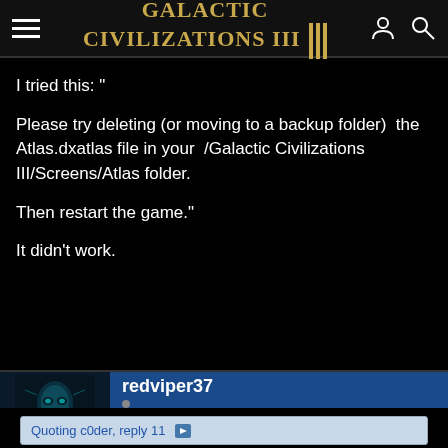Galactic Civilizations III
I tried this: "

Please try deleting (or moving to a backup folder)  the Atlas.dxatlas file in your  /Galactic Civilizations III/Screens/Atlas folder.

Then restart the game."

It didn't work.
redviper37
+13
Reply #15   May 1, 2015 11:48:45 PM
Quoting c0der, reply 11